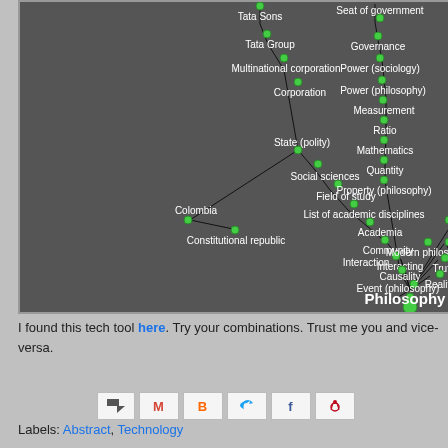[Figure (network-graph): Network graph showing interconnected Wikipedia concepts with green nodes and dark gray background. Concepts include: Seat of government, Governance, Power (sociology), Power (philosophy), Measurement, Ratio, Mathematics, Quantity, Property (philosophy), Modern philosophy, Truth, Reality, Philosophy, Event (philosophy), Causality, Interaction, Interacting, Community, Academia, List of academic disciplines, Field of study, Social sciences, State (polity), Corporation, Multinational corporation, Tata Group, Tata Sons, Colombia, Constitutional republic, and partial nodes K and Fa.]
I found this tech tool here. Try your combinations. Trust me you and vice-versa.
[Figure (infographic): Row of social sharing icons: email/share arrow, Gmail M, Blogger B, Twitter bird, Facebook f, Pinterest p]
Labels: Abstract, Technology